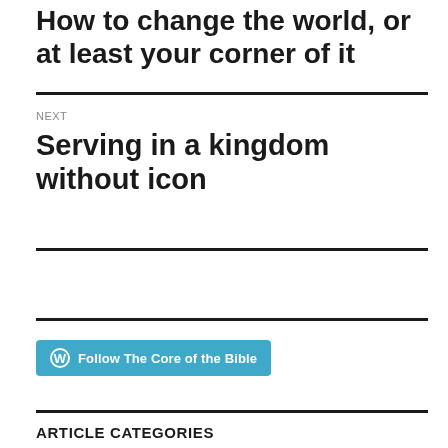How to change the world, or at least your corner of it
NEXT
Serving in a kingdom without icon
[Figure (other): Follow The Core of the Bible button with WordPress icon]
ARTICLE CATEGORIES